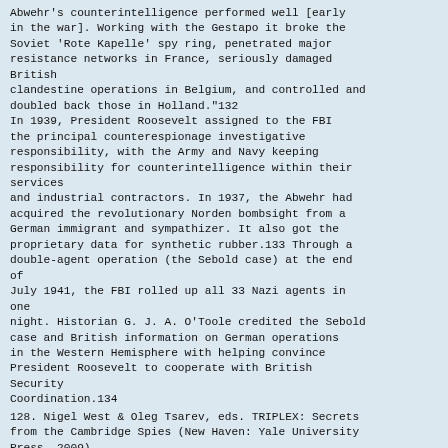Abwehr's counterintelligence performed well [early in the war]. Working with the Gestapo it broke the Soviet 'Rote Kapelle' spy ring, penetrated major resistance networks in France, seriously damaged British clandestine operations in Belgium, and controlled and doubled back those in Holland."132 In 1939, President Roosevelt assigned to the FBI the principal counterespionage investigative responsibility, with the Army and Navy keeping responsibility for counterintelligence within their services and industrial contractors. In 1937, the Abwehr had acquired the revolutionary Norden bombsight from a German immigrant and sympathizer. It also got the proprietary data for synthetic rubber.133 Through a double-agent operation (the Sebold case) at the end of July 1941, the FBI rolled up all 33 Nazi agents in one night. Historian G. J. A. O'Toole credited the Sebold case and British information on German operations in the Western Hemisphere with helping convince President Roosevelt to cooperate with British Security Coordination.134
128. Nigel West & Oleg Tsarev, eds. TRIPLEX: Secrets from the Cambridge Spies (New Haven: Yale University Press, 2009).
129. Andrew, President's Eyes Only, 139-40. Denial of cryptographic intelligence to OSS poisoned later relationships between the newly established CIA and NSA. See